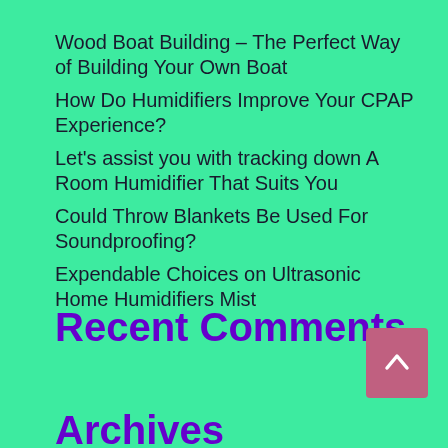Wood Boat Building – The Perfect Way of Building Your Own Boat
How Do Humidifiers Improve Your CPAP Experience?
Let's assist you with tracking down A Room Humidifier That Suits You
Could Throw Blankets Be Used For Soundproofing?
Expendable Choices on Ultrasonic Home Humidifiers Mist
Recent Comments
Archives